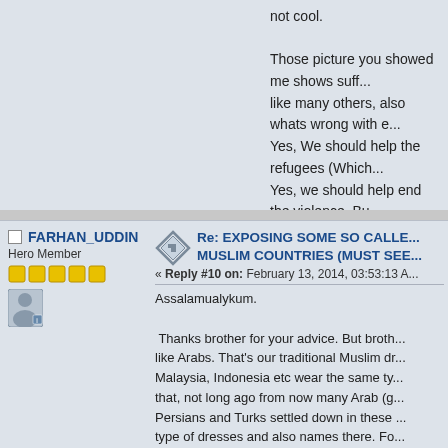not cool.

Those picture you showed me shows suff... like many others, also whats wrong with e... Yes, We should help the refugees (Which... Yes, we should help end the violence. Bu... off than others.

Peace
FARHAN_UDDIN
Hero Member
Re: EXPOSING SOME SO CALLE... MUSLIM COUNTRIES (MUST SEE...
« Reply #10 on: February 13, 2014, 03:53:13 AM

Assalamualykum.

 Thanks brother for your advice. But broth... like Arabs. That's our traditional Muslim dr... Malaysia, Indonesia etc wear the same ty... that, not long ago from now many Arab (g... Persians and Turks settled down in these ... type of dresses and also names there. Fo... means glorious in Farsi. And as I have to... Persians, Turks or Iraqis. They used to tr... trade along the river banks. If you had see...